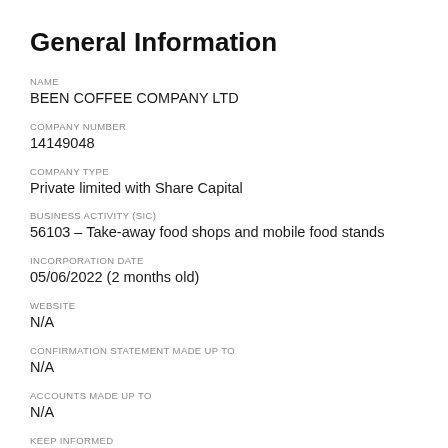General Information
NAME
BEEN COFFEE COMPANY LTD
COMPANY NUMBER
14149048
COMPANY TYPE
Private limited with Share Capital
BUSINESS ACTIVITY (SIC)
56103 – Take-away food shops and mobile food stands
INCORPORATION DATE
05/06/2022 (2 months old)
WEBSITE
N/A
CONFIRMATION STATEMENT MADE UP TO
N/A
ACCOUNTS MADE UP TO
N/A
KEEP INFORMED